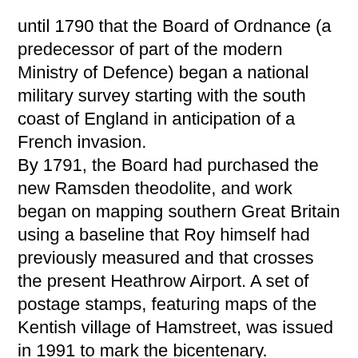until 1790 that the Board of Ordnance (a predecessor of part of the modern Ministry of Defence) began a national military survey starting with the south coast of England in anticipation of a French invasion.
By 1791, the Board had purchased the new Ramsden theodolite, and work began on mapping southern Great Britain using a baseline that Roy himself had previously measured and that crosses the present Heathrow Airport. A set of postage stamps, featuring maps of the Kentish village of Hamstreet, was issued in 1991 to mark the bicentenary.
In 1801 the first one-inch-to-the-mile (1:63,360) map was published, detailing the county of Kent, with Essex following shortly after. The Kent map was published privately and stopped at the county border while the Essex maps were published by Ordnance Survey and ignore the county border setting the trend for future Ordnance Survey maps.
During the next twenty years roughly a third of England and Wales was mapped at the same scale. (see Principal Triangulation of Great Britain.) It was gruelling work: Major